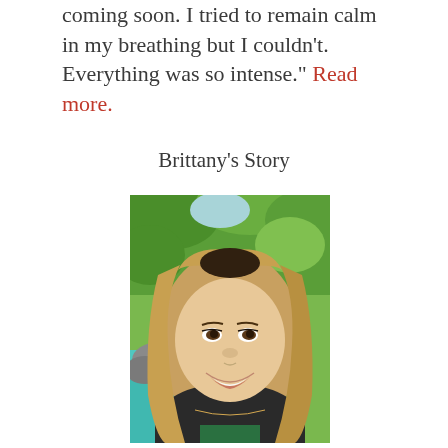coming soon. I tried to remain calm in my breathing but I couldn't. Everything was so intense." Read more.
Brittany's Story
[Figure (photo): Portrait photo of a smiling blonde woman outdoors with green trees and foliage in the background]